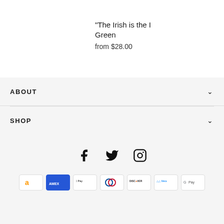"The Irish is the I... Green
from $28.00
ABOUT
SHOP
[Figure (other): Social media icons: Facebook, Twitter, Instagram]
[Figure (other): Payment method icons: Amazon, Amex, Apple Pay, Diners Club, Discover, Meta Pay, Google Pay]